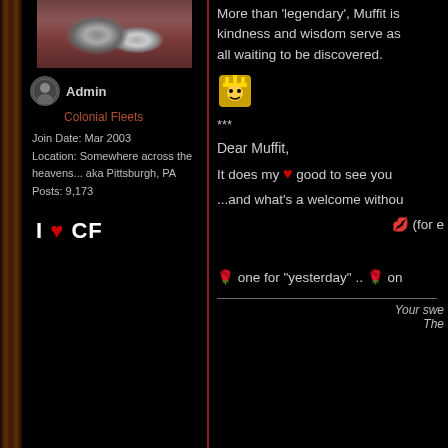[Figure (photo): Cat photo in left sidebar user profile area - appears to show a cat resting, with reddish/dark background]
Admin
Colonial Fleets
Join Date: Mar 2003
Location: Somewhere across the heavens... aka Pittsburgh, PA
Posts: 9,173
[Figure (illustration): I love CF graphic with red heart - white bold text 'I [heart] CF']
More than 'legendary', Muffit is kindness and wisdom serve as all waiting to be discovered.
[Figure (illustration): Small pixel art king/smiley emoji icon]
***
Dear Muffit,
It does my [heart] good to see you
...and what's a welcome withou
💋 (for e
🌹 one for "yesterday" .. 🌹 on
Your swe
The